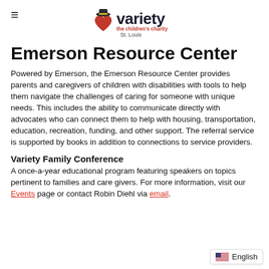variety the children's charity St. Louis
Emerson Resource Center
Powered by Emerson, the Emerson Resource Center provides parents and caregivers of children with disabilities with tools to help them navigate the challenges of caring for someone with unique needs. This includes the ability to communicate directly with advocates who can connect them to help with housing, transportation, education, recreation, funding, and other support. The referral service is supported by books in addition to connections to service providers.
Variety Family Conference
A once-a-year educational program featuring speakers on topics pertinent to families and care givers. For more information, visit our Events page or contact Robin Diehl via email.